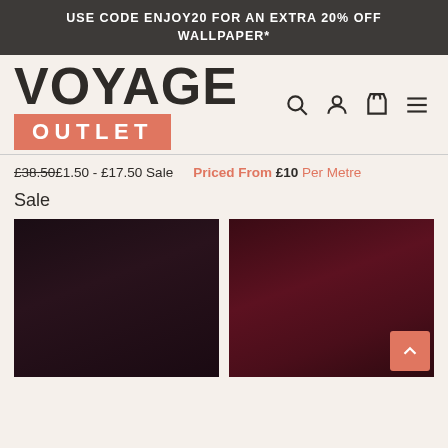USE CODE ENJOY20 FOR AN EXTRA 20% OFF WALLPAPER*
[Figure (logo): Voyage Outlet logo — VOYAGE in large bold dark text, OUTLET in white on salmon/terracotta background rectangle]
£38.50 £1.50 - £17.50 Sale   Priced From £10 Per Metre
Sale
[Figure (photo): Dark near-black fabric swatch product thumbnail]
[Figure (photo): Dark burgundy/wine red fabric swatch product thumbnail with scroll-to-top button overlay]